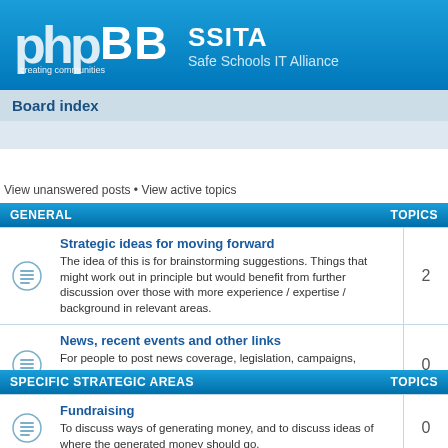[Figure (logo): phpBB logo — white text on blue background with 'creating communities' tagline]
SSITA
Safe Schools IT Alliance
Board index
View unanswered posts • View active topics
| GENERAL | TOPICS |
| --- | --- |
| Strategic ideas for moving forward
The idea of this is for brainstorming suggestions. Things that might work out in principle but would benefit from further discussion over those with more experience / expertise / background in relevant areas. | 2 |
| News, recent events and other links
For people to post news coverage, legislation, campaigns, organisations, and anything else that may be relevant to the initiative as a whole. | 0 |
| SPECIFIC STRATEGIC AREAS | TOPICS |
| --- | --- |
| Fundraising
To discuss ways of generating money, and to discuss ideas of where the generated money should go. | 0 |